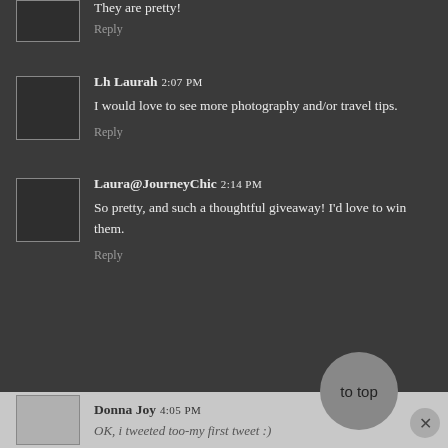They are pretty!
Reply
Lh Laurah 2:07 PM
I would love to see more photography and/or travel tips.
Reply
Laura@JourneyChic 2:14 PM
So pretty, and such a thoughtful giveaway! I'd love to win them.
Reply
Donna Joy 4:05 PM
OK, i tweeted too-my first tweet :)